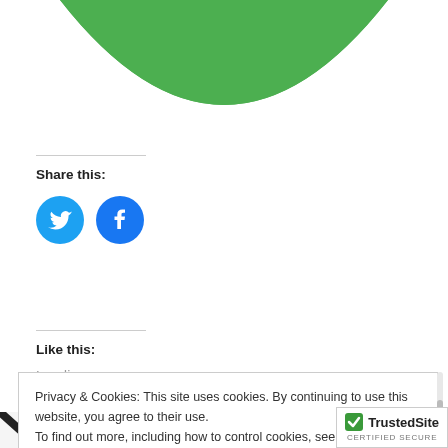[Figure (illustration): Green semicircle/half-circle shape at top of page, like a logo or decorative element]
Share this:
[Figure (illustration): Twitter bird icon in blue circle and Facebook 'f' icon in blue circle, side by side]
Like this:
Loading...
Privacy & Cookies: This site uses cookies. By continuing to use this website, you agree to their use.
To find out more, including how to control cookies, see here: Cookie Policy
Close and accept
[Figure (logo): TrustedSite CERTIFIED SECURE badge with green checkmark]